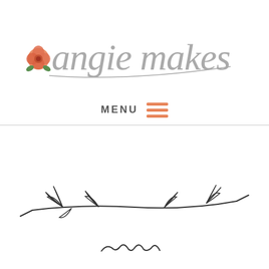[Figure (logo): Angie Makes logo: hand-lettered cursive text 'angie makes' in gray with an orange rose illustration to the left]
[Figure (other): Orange hamburger menu icon (three horizontal lines) next to bold gray 'MENU' text]
[Figure (illustration): Hand-drawn botanical branch/arrow illustration in dark ink at bottom of page, with a cursive script beginning below it]